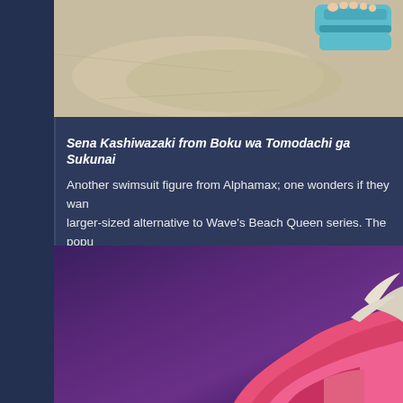[Figure (photo): Top portion of a figure/statue photo showing feet with teal sandals on a light beige/stone surface]
Sena Kashiwazaki from Boku wa Tomodachi ga Sukunai
Another swimsuit figure from Alphamax; one wonders if they want a larger-sized alternative to Wave's Beach Queen series. The popularity of Sukunai has led to a profusion of figures, mostly of Yozora and S... capturing both her lively personality and her voluminous breasts. I don't really care for the color of her swimsuit. I might feel otherwise I guess.
Sometime in 2013
[Figure (photo): Bottom portion showing a pink/coral colored anime figure with white wing-like elements against a purple gradient background]